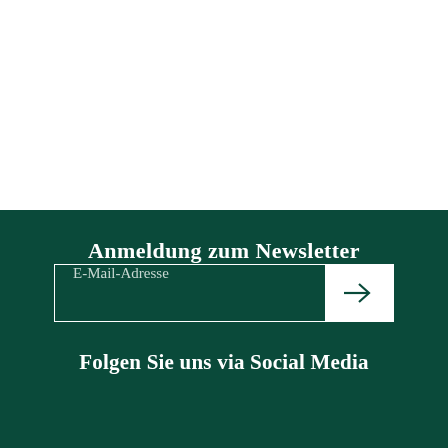Anmeldung zum Newsletter
E-Mail-Adresse
Folgen Sie uns via Social Media